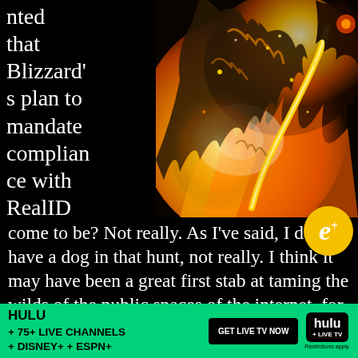nted that Blizzard's plan to mandate compliance with RealID failed to
[Figure (illustration): Fantasy video game art showing armored character in fiery explosion with orange and gold flames against dark background]
come to be? Not really. As I've said, I don't have a dog in that hunt, not really. I think it may have been a great first stab at taming the wilds of the public spaces of the internet, for sure, but it's not the first stab I have recommended and, frankly, I think it was a moronic move for Blizzard, a company that's created an emp... e and vocal c...
[Figure (logo): Hulu advertisement banner: HULU +75+ LIVE CHANNELS + DISNEY+ + ESPN+, GET LIVE TV NOW button, hulu + LIVE TV logo, Restrictions apply.]